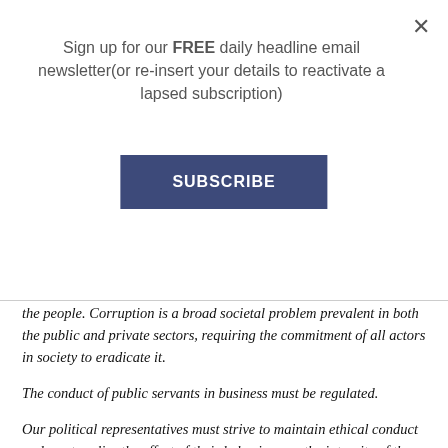Sign up for our FREE daily headline email newsletter(or re-insert your details to reactivate a lapsed subscription)
SUBSCRIBE
the people. Corruption is a broad societal problem prevalent in both the public and private sectors, requiring the commitment of all actors in society to eradicate it.
The conduct of public servants in business must be regulated.
Our political representatives must strive to maintain ethical conduct and must realise the effect of their behaviour on the integrity of the political office they hold.
To ensure all South Africans are safer and feel safer, we will continue to work hard to ensure a rapid downward trend in the overall levels of crime, and strengthen management and control of our borders.
IN THE NEXT FIVE YEARS THE ANC WILL: